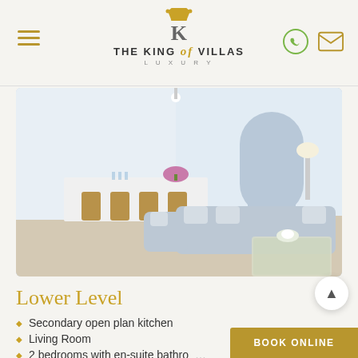THE KING of VILLAS LUXURY
[Figure (photo): Interior photo of a luxury villa living room with grey sectional sofa, glass coffee table with flowers, and bar stools at a kitchen counter in the background. White walls, arched doorway, bright natural light.]
Lower Level
Secondary open plan kitchen
Living Room
2 bedrooms with en-suite bathro...
2 bedrooms with shared bathroom